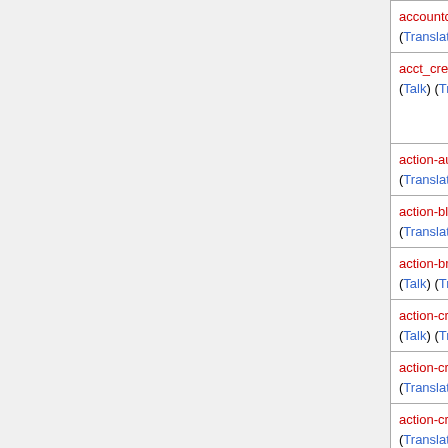| Message key / Links | Default English text |
| --- | --- |
| accountcreatedtext (Talk) (Translate 🔒) | The user account for [[{ns:User}}:$1|$1]] ([[{s:talk}}:$1|talk]]) has bee... |
| acct_creation_throttle_hit (Talk) (Translate 🔒) | Visitors to this wiki using your IP address have created {{PLURAL:$1|1 account|accounts}} in the last da... the maximum allowed i... period. As a result, visit... this IP address cannot c... more accounts at the m... |
| action-autopatrol (Talk) (Translate 🔒) | have your edit marked a... |
| action-block (Talk) (Translate 🔒) | block this user from edi... |
| action-browsearchive (Talk) (Translate 🔒) | search deleted pages |
| action-createaccount (Talk) (Translate 🔒) | create this user accoun... |
| action-createpage (Talk) (Translate 🔒) | create pages |
| action-createtalk (Talk) (Translate 🔒) | create discussion page... |